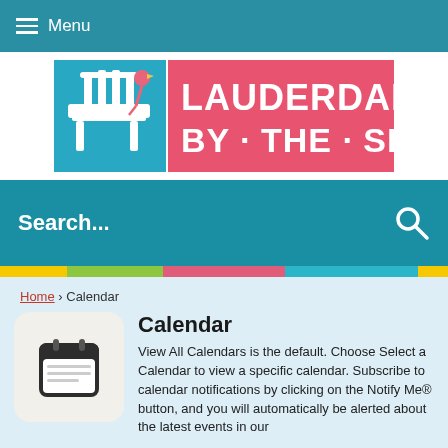Menu
[Figure (logo): Lauderdale By The Sea logo with a beach chair and flamingo]
Search...
Home › Calendar
Calendar
[Figure (illustration): Calendar app icon with lined notepad and spiral binding]
View All Calendars is the default. Choose Select a Calendar to view a specific calendar. Subscribe to calendar notifications by clicking on the Notify Me® button, and you will automatically be alerted about the latest events in our